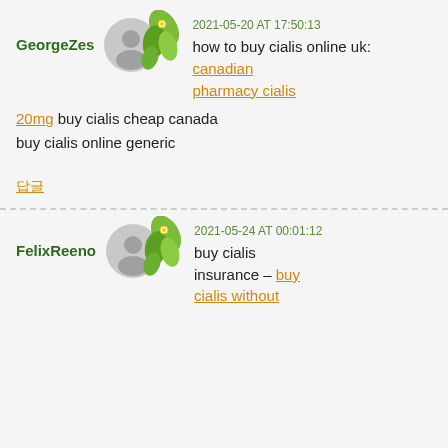GeorgeZes
2021-05-20 AT 17:50:13
how to buy cialis online uk: canadian pharmacy cialis 20mg buy cialis cheap canada buy cialis online generic
답글
FelixReeno
2021-05-24 AT 00:01:12
buy cialis insurance – buy cialis without